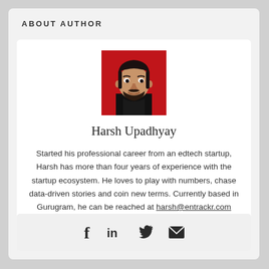ABOUT AUTHOR
[Figure (photo): Cartoon/illustrated portrait of Harsh Upadhyay against a red background]
Harsh Upadhyay
Started his professional career from an edtech startup, Harsh has more than four years of experience with the startup ecosystem. He loves to play with numbers, chase data-driven stories and coin new terms. Currently based in Gurugram, he can be reached at harsh@entrackr.com
[Figure (infographic): Social media icons: Facebook, LinkedIn, Twitter, Email]